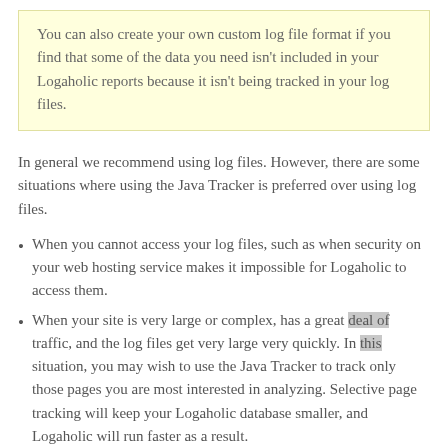You can also create your own custom log file format if you find that some of the data you need isn't included in your Logaholic reports because it isn't being tracked in your log files.
In general we recommend using log files. However, there are some situations where using the Java Tracker is preferred over using log files.
When you cannot access your log files, such as when security on your web hosting service makes it impossible for Logaholic to access them.
When your site is very large or complex, has a great deal of traffic, and the log files get very large very quickly. In this situation, you may wish to use the Java Tracker to track only those pages you are most interested in analyzing. Selective page tracking will keep your Logaholic database smaller, and Logaholic will run faster as a result.